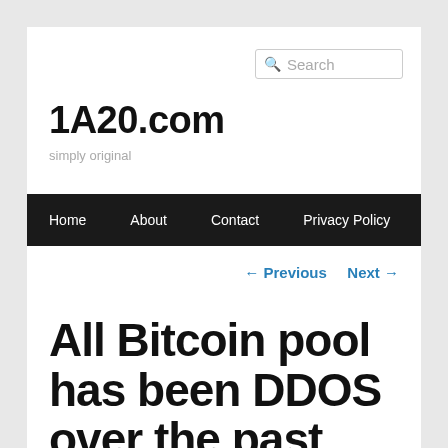1A20.com — simply original
Search
Home  About  Contact  Privacy Policy
← Previous   Next →
All Bitcoin pool has been DDOS over the past few days